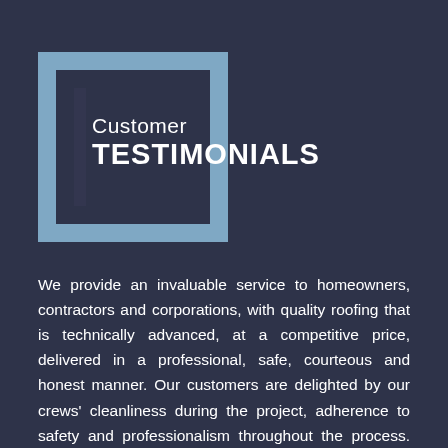Customer TESTIMONIALS
We provide an invaluable service to homeowners, contractors and corporations, with quality roofing that is technically advanced, at a competitive price, delivered in a professional, safe, courteous and honest manner. Our customers are delighted by our crews' cleanliness during the project, adherence to safety and professionalism throughout the process. Want to let us know how we're doing? Leave us a review.